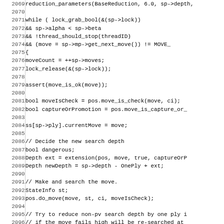[Figure (screenshot): Source code listing in monospace font with line numbers 2069–2101, showing C++ chess engine code with a while loop processing moves, including move validation, depth extension calculation, and move execution.]